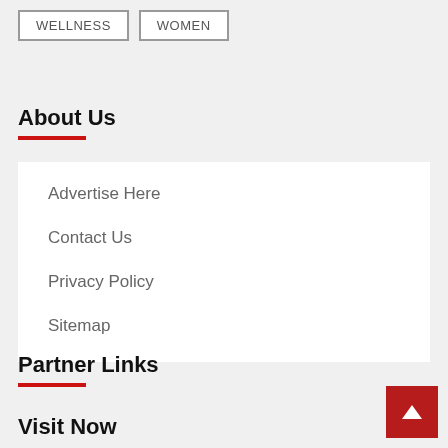WELLNESS
WOMEN
About Us
Advertise Here
Contact Us
Privacy Policy
Sitemap
Partner Links
Visit Now